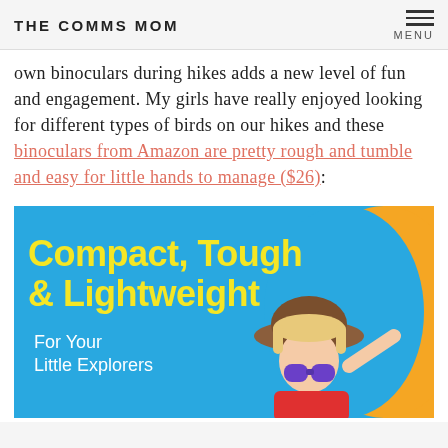THE COMMS MOM
own binoculars during hikes adds a new level of fun and engagement. My girls have really enjoyed looking for different types of birds on our hikes and these binoculars from Amazon are pretty rough and tumble and easy for little hands to manage ($26):
[Figure (photo): Product advertisement image with blue background and yellow accent. Text reads 'Compact, Tough & Lightweight' in yellow bold font, 'For Your Little Explorers' in white. Shows a child wearing a hat and using purple binoculars.]